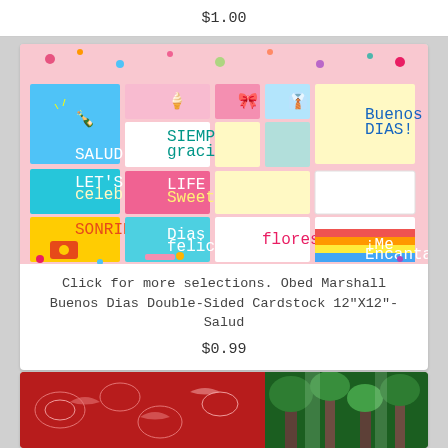$1.00
[Figure (photo): Colorful double-sided cardstock product image showing a grid of illustrated cards with Spanish phrases: Salud, Siempre Gracias, Buenos Dias, Let's Celebrate, Life is Sweet, Sonrie, Dias Felicidad, and floral patterns]
Click for more selections. Obed Marshall Buenos Dias Double-Sided Cardstock 12"X12"-Salud
$0.99
[Figure (photo): Bottom portion showing two images: left side is a red fabric with ornate bird/floral pattern, right side shows green trees/forest]